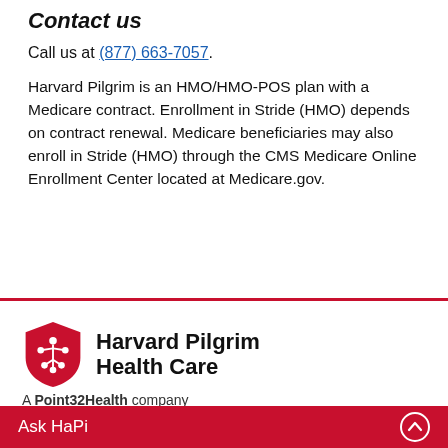Contact us
Call us at (877) 663-7057.
Harvard Pilgrim is an HMO/HMO-POS plan with a Medicare contract. Enrollment in Stride (HMO) depends on contract renewal. Medicare beneficiaries may also enroll in Stride (HMO) through the CMS Medicare Online Enrollment Center located at Medicare.gov.
[Figure (logo): Harvard Pilgrim Health Care logo with red shield icon and text 'Harvard Pilgrim Health Care']
A Point32Health company
Point32Health is the parent organization of Harvard Pilgrim Health Care and Tufts Health Plan. Together, we share a legacy...
Ask HaPi